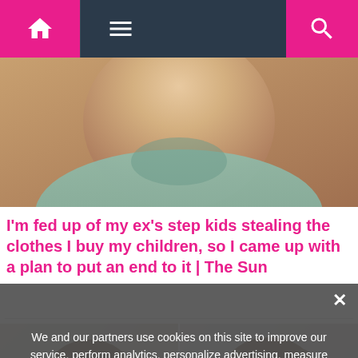[Figure (screenshot): Website navigation bar with pink home icon on left, hamburger menu icon, and pink search icon on right, dark navy background]
[Figure (photo): Close-up photo of a person's neck and upper chest, wearing a light teal/mint colored top]
I'm fed up of my ex's step kids stealing the clothes I buy my children, so I came up with a plan to put an end to it | The Sun
[Figure (photo): Two side-by-side video stills of a woman with long brown hair wearing a black t-shirt, speaking to camera in a home setting. Left image shows her from front, right image shows her holding something up.]
We and our partners use cookies on this site to improve our service, perform analytics, personalize advertising, measure advertising performance, and remember website preferences.
Ok